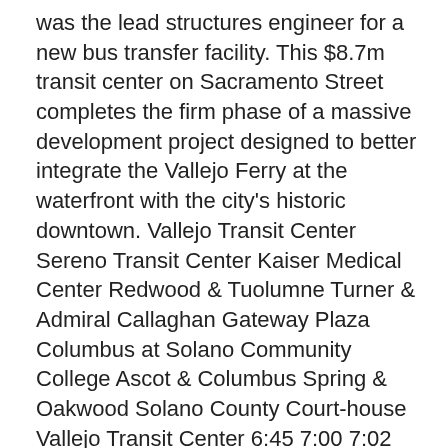was the lead structures engineer for a new bus transfer facility. This $8.7m transit center on Sacramento Street completes the firm phase of a massive development project designed to better integrate the Vallejo Ferry at the waterfront with the city's historic downtown. Vallejo Transit Center Sereno Transit Center Kaiser Medical Center Redwood & Tuolumne Turner & Admiral Callaghan Gateway Plaza Columbus at Solano Community College Ascot & Columbus Spring & Oakwood Solano County Court-house Vallejo Transit Center 6:45 7:00 7:02 7:06 7:13 7:17 7:21 7:27 7:34 7:38 7:45 7:45 8:00 8:02 8:06 8:13 8:17 8:21 8:27 8:34 8:38 8:45 There is a Route 200 bus stop sign located between the San Francisco Ferry Building and the restaurant located at Pier 1 just north of the Ferry Building.